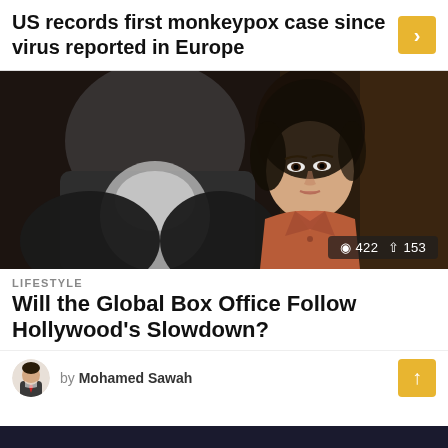US records first monkeypox case since virus reported in Europe
[Figure (photo): Two people in dramatic scene — a man in foreground blurred, a woman wearing an orange shirt looking intently in background]
422  153
LIFESTYLE
Will the Global Box Office Follow Hollywood's Slowdown?
by Mohamed Sawah